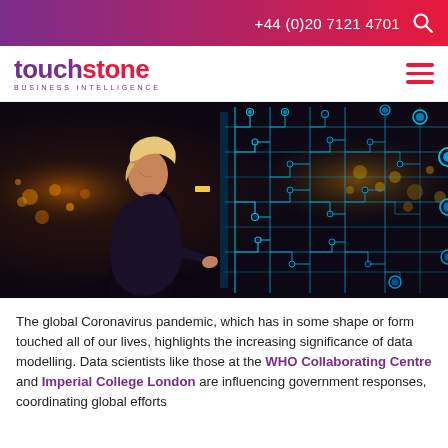+44 (0)20 7121 4701
[Figure (logo): Touchstone Business Intelligence logo with purple 'touchstone' text and red accent, plus hamburger menu icon]
[Figure (photo): Woman touching an illuminated digital circuit board display in dark setting, with glowing blue network nodes and connections on the right half]
The global Coronavirus pandemic, which has in some shape or form touched all of our lives, highlights the increasing significance of data modelling. Data scientists like those at the WHO Collaborating Centre and Imperial College London are influencing government responses, coordinating global efforts